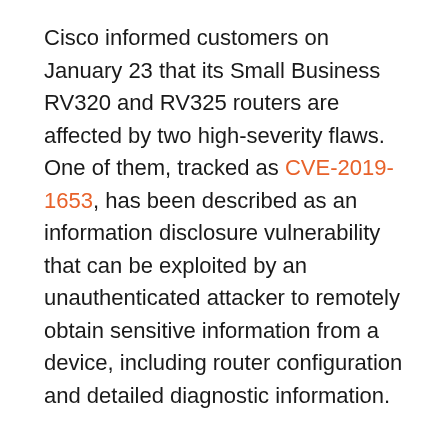Cisco informed customers on January 23 that its Small Business RV320 and RV325 routers are affected by two high-severity flaws. One of them, tracked as CVE-2019-1653, has been described as an information disclosure vulnerability that can be exploited by an unauthenticated attacker to remotely obtain sensitive information from a device, including router configuration and detailed diagnostic information.
The second vulnerability, identified as CVE-2019-1652, allows an attacker with admin privileges to execute arbitrary commands as root. These vulnerabilities can be combined to take control of an affected router.